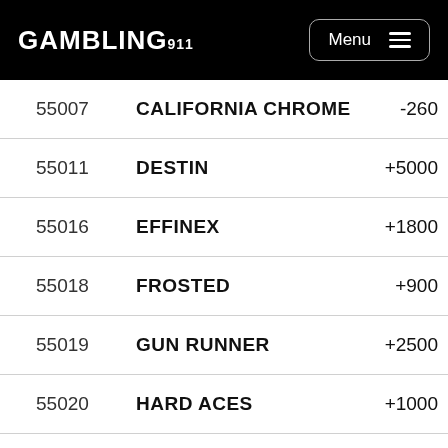GAMBLING911 Menu
| Number | Horse | Odds |
| --- | --- | --- |
| 55007 | CALIFORNIA CHROME | -260 |
| 55011 | DESTIN | +5000 |
| 55016 | EFFINEX | +1800 |
| 55018 | FROSTED | +900 |
| 55019 | GUN RUNNER | +2500 |
| 55020 | HARD ACES | +1000 |
| 55021 | HOPPERTUNITY | +1500 |
| 55022 | IMPERATIVE | +7000 |